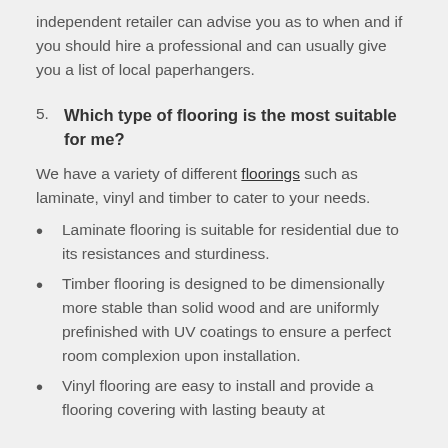independent retailer can advise you as to when and if you should hire a professional and can usually give you a list of local paperhangers.
5. Which type of flooring is the most suitable for me?
We have a variety of different floorings such as laminate, vinyl and timber to cater to your needs.
Laminate flooring is suitable for residential due to its resistances and sturdiness.
Timber flooring is designed to be dimensionally more stable than solid wood and are uniformly prefinished with UV coatings to ensure a perfect room complexion upon installation.
Vinyl flooring are easy to install and provide a flooring covering with lasting beauty at